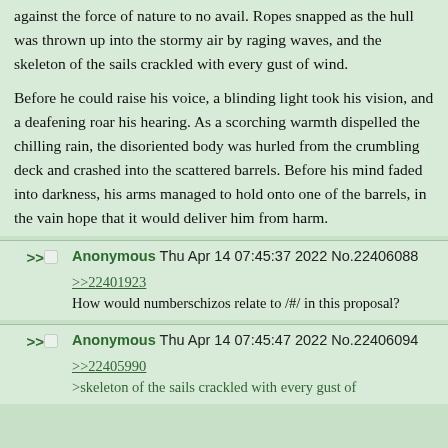against the force of nature to no avail. Ropes snapped as the hull was thrown up into the stormy air by raging waves, and the skeleton of the sails crackled with every gust of wind.

Before he could raise his voice, a blinding light took his vision, and a deafening roar his hearing. As a scorching warmth dispelled the chilling rain, the disoriented body was hurled from the crumbling deck and crashed into the scattered barrels. Before his mind faded into darkness, his arms managed to hold onto one of the barrels, in the vain hope that it would deliver him from harm.
Anonymous Thu Apr 14 07:45:37 2022 No.22406088
>>22401923
How would numberschizos relate to /#/ in this proposal?
Anonymous Thu Apr 14 07:45:47 2022 No.22406094
>>22405990
>skeleton of the sails crackled with every gust of